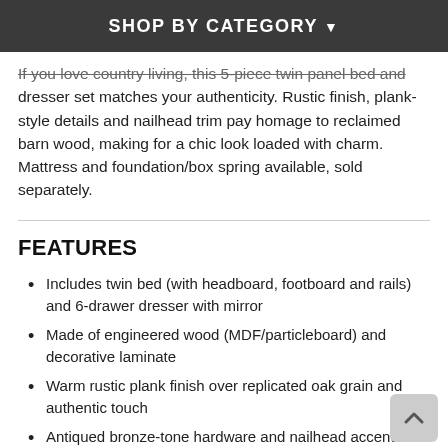SHOP BY CATEGORY
If you love country living, this 5-piece twin panel bed and dresser set matches your authenticity. Rustic finish, plank-style details and nailhead trim pay homage to reclaimed barn wood, making for a chic look loaded with charm. Mattress and foundation/box spring available, sold separately.
FEATURES
Includes twin bed (with headboard, footboard and rails) and 6-drawer dresser with mirror
Made of engineered wood (MDF/particleboard) and decorative laminate
Warm rustic plank finish over replicated oak grain and authentic touch
Antiqued bronze-tone hardware and nailhead accents
Dresser with smooth-gliding drawers
Mirror attaches to back of dresser